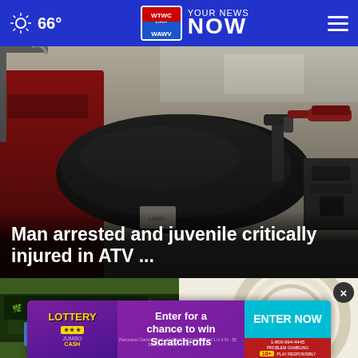66° YOUR NEWS NOW
[Figure (photo): Close-up photo of an ATV (all-terrain vehicle) seat and handlebars, red body visible on the left side]
Man arrested and juvenile critically injured in ATV ...
[Figure (screenshot): News website bottom section showing a cannabis store exterior on the left and a circular object on the right, with a play button overlay, close button, and lottery advertisement banner at the bottom reading 'Enter for a chance to win Scratch-offs' with ENTER NOW button]
Enter for a chance to win Scratch-offs
ENTER NOW